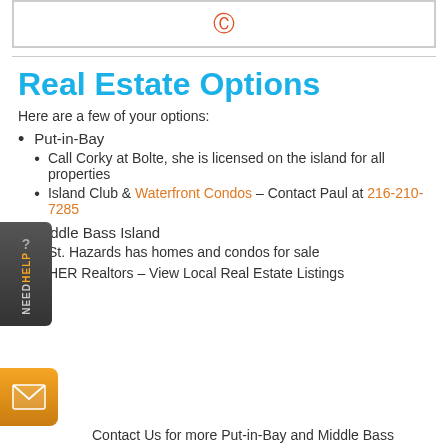Real Estate Options
Here are a few of your options:
Put-in-Bay
Call Corky at Bolte, she is licensed on the island for all properties
Island Club & Waterfront Condos – Contact Paul at 216-210-7285
Middle Bass Island
St. Hazards has homes and condos for sale
HER Realtors – View Local Real Estate Listings
Contact Us for more Put-in-Bay and Middle Bass